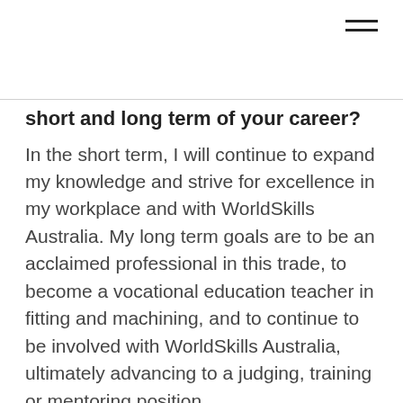≡
short and long term of your career?
In the short term, I will continue to expand my knowledge and strive for excellence in my workplace and with WorldSkills Australia. My long term goals are to be an acclaimed professional in this trade, to become a vocational education teacher in fitting and machining, and to continue to be involved with WorldSkills Australia, ultimately advancing to a judging, training or mentoring position.
How do you feel about representing Australia in São Paulo, Brazil?
I am very passionate about my trade, and am